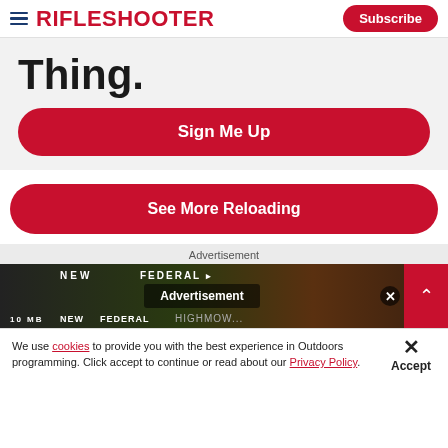RifleShooter | Subscribe
Thing.
Sign Me Up
See More Reloading
Advertisement
[Figure (screenshot): Federal ammunition advertisement banner with NEW FEDERAL branding and rifle imagery, with an Advertisement overlay and X close button]
We use cookies to provide you with the best experience in Outdoors programming. Click accept to continue or read about our Privacy Policy.